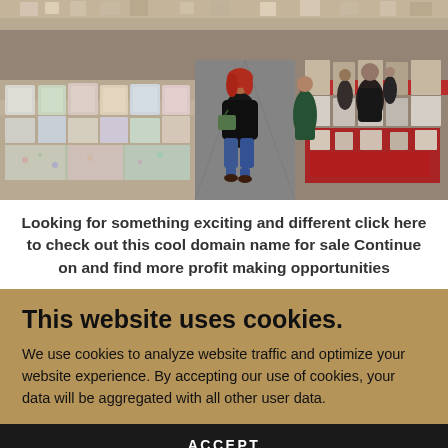[Figure (photo): Outdoor market with stalls of fabric bolts and textiles on both sides of a walkway; people including a woman in a black jacket with a green bag walking away from camera, colorful goods displayed on tables under a covered market]
Looking for something exciting and different click here to check out this cool domain name for sale Continue on and find more profit making opportunities
This website uses cookies.
We use cookies to analyze website traffic and optimize your website experience. By accepting our use of cookies, your data will be aggregated with all other user data.
ACCEPT